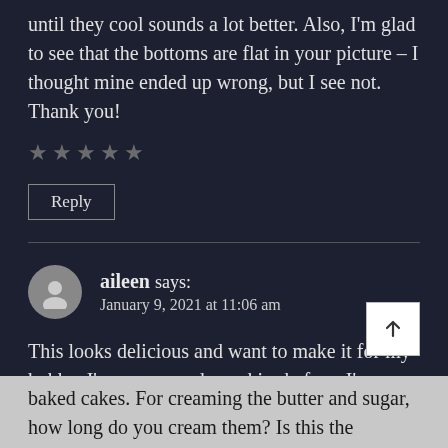until they cool sounds a lot better. Also, I'm glad to see that the bottoms are flat in your picture – I thought mine ended up wrong, but I see not. Thank you!
★★★★★ (empty stars rating)
Reply
aileen says:
January 9, 2021 at 11:06 am
This looks delicious and want to make it for my hubby. I've never made cookies before. I've baked cakes. For creaming the butter and sugar, how long do you cream them? Is this the